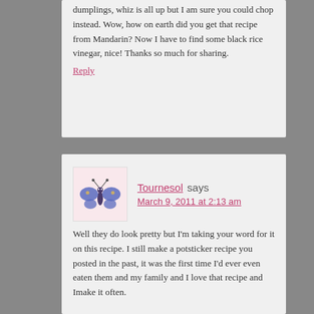dumplings, whiz is all up but I am sure you could chop instead. Wow, how on earth did you get that recipe from Mandarin? Now I have to find some black rice vinegar, nice! Thanks so much for sharing.
Reply
Tournesol says
March 9, 2011 at 2:13 am
Well they do look pretty but I'm taking your word for it on this recipe. I still make a potsticker recipe you posted in the past, it was the first time I'd ever even eaten them and my family and I love that recipe and Imake it often.